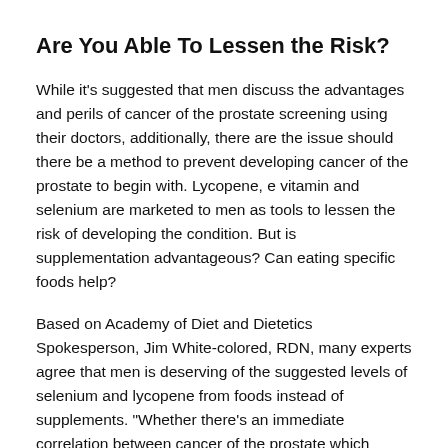Are You Able To Lessen the Risk?
While it's suggested that men discuss the advantages and perils of cancer of the prostate screening using their doctors, additionally, there are the issue should there be a method to prevent developing cancer of the prostate to begin with. Lycopene, e vitamin and selenium are marketed to men as tools to lessen the risk of developing the condition. But is supplementation advantageous? Can eating specific foods help?
Based on Academy of Diet and Dietetics Spokesperson, Jim White-colored, RDN, many experts agree that men is deserving of the suggested levels of selenium and lycopene from foods instead of supplements. "Whether there's an immediate correlation between cancer of the prostate which minerals or otherwise, a general nutritious diet